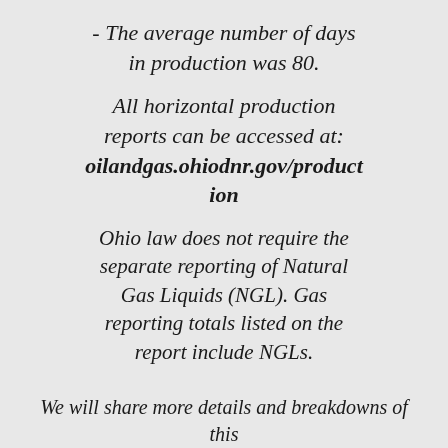- The average number of days in production was 80.
All horizontal production reports can be accessed at: oilandgas.ohiodnr.gov/production
Ohio law does not require the separate reporting of Natural Gas Liquids (NGL). Gas reporting totals listed on the report include NGLs.
We will share more details and breakdowns of this